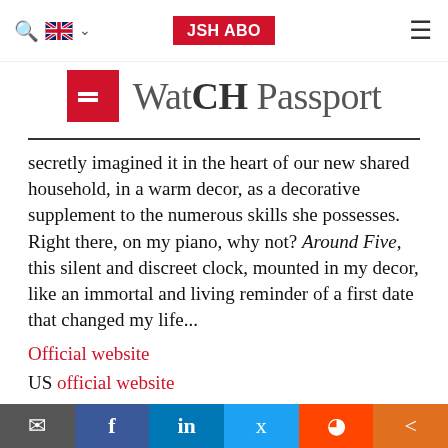JSH ABO
WatCH Passport
secretly imagined it in the heart of our new shared household, in a warm decor, as a decorative supplement to the numerous skills she possesses. Right there, on my piano, why not? Around Five, this silent and discreet clock, mounted in my decor, like an immortal and living reminder of a first date that changed my life...
Official website
US official website
[Figure (photo): Partial image of a person, cropped at bottom of page]
Pour vous laisser suivre, tracer, algorithmor, dans le
Email | Facebook | LinkedIn | Twitter | Reddit | Share